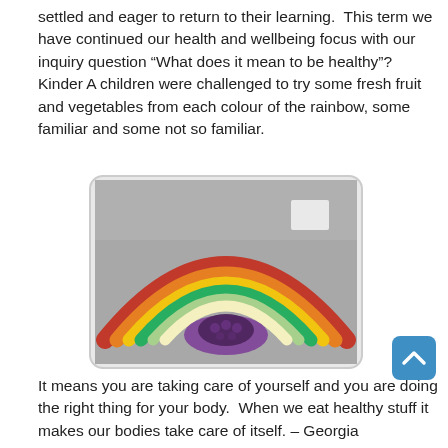settled and eager to return to their learning.  This term we have continued our health and wellbeing focus with our inquiry question “What does it mean to be healthy”?  Kinder A children were challenged to try some fresh fruit and vegetables from each colour of the rainbow, some familiar and some not so familiar.
[Figure (photo): A rainbow-shaped arrangement of colorful fresh fruits and vegetables laid out on a table, including watermelon, strawberries, oranges, grapes, cucumber, banana, and purple cabbage.]
It means you are taking care of yourself and you are doing the right thing for your body.  When we eat healthy stuff it makes our bodies take care of itself. – Georgia
I do some jogs.  That makes you healthy by running.  You need to eat fruit and veggies because they have lots and lots of good things in them.  I love grapes and apples, they have lots